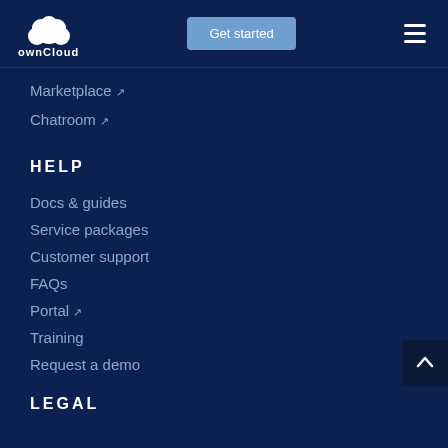ownCloud | Get started
Marketplace ↗
Chatroom ↗
HELP
Docs & guides
Service packages
Customer support
FAQs
Portal ↗
Training
Request a demo
LEGAL